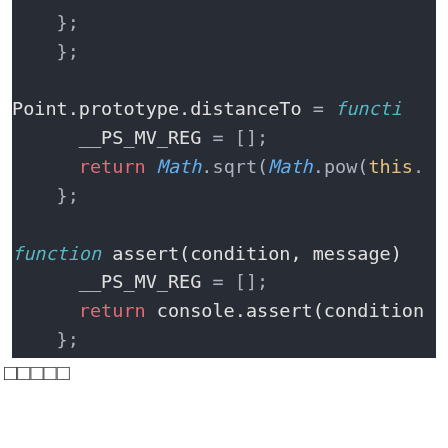[Figure (screenshot): Dark-themed code editor screenshot showing JavaScript code with syntax highlighting. Code includes Point.prototype.distanceTo function with __PS_MV_REG and Math.sqrt calls, an assert function with console.assert, and a self-invoking function declaration.]
□□□□□